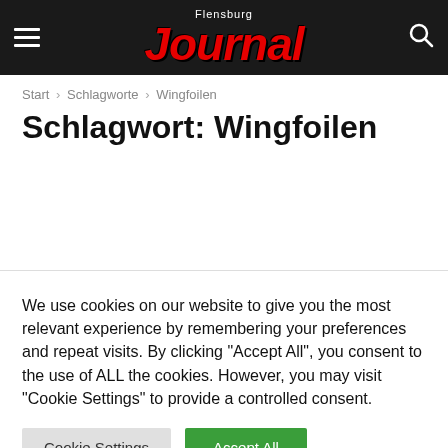Flensburg Journal
Start › Schlagworte › Wingfoilen
Schlagwort: Wingfoilen
We use cookies on our website to give you the most relevant experience by remembering your preferences and repeat visits. By clicking "Accept All", you consent to the use of ALL the cookies. However, you may visit "Cookie Settings" to provide a controlled consent.